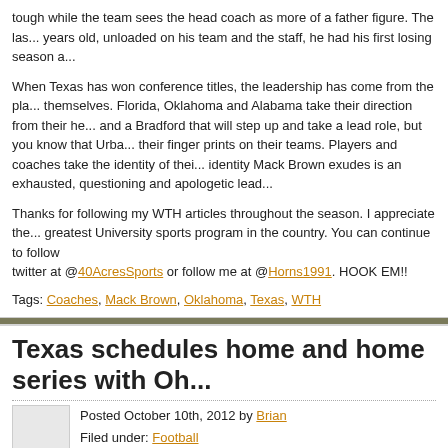tough while the team sees the head coach as more of a father figure. The las... years old, unloaded on his team and the staff, he had his first losing season a...
When Texas has won conference titles, the leadership has come from the pla... themselves. Florida, Oklahoma and Alabama take their direction from their he... and a Bradford that will step up and take a lead role, but you know that Urba... their finger prints on their teams. Players and coaches take the identity of thei... identity Mack Brown exudes is an exhausted, questioning and apologetic lead...
Thanks for following my WTH articles throughout the season. I appreciate the... greatest University sports program in the country. You can continue to follow ... twitter at @40AcresSports or follow me at @Horns1991. HOOK EM!!
Tags: Coaches, Mack Brown, Oklahoma, Texas, WTH
Texas schedules home and home series with Oh...
Posted October 10th, 2012 by Brian
Filed under: Football
Comments Off on Texas schedules home a...
Awesome news for the relatively distant future as the Longhorns and Buckeye... and home series in 2022 and 2023. Here's the details from MBTF:
Two of the most storied programs in college football history will meet ag... and The Ohio State University have agreed to a future home and home...